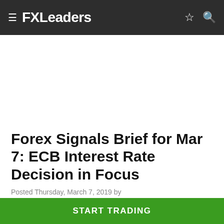FXLeaders
Forex Signals Brief for Mar 7: ECB Interest Rate Decision in Focus
Posted Thursday, March 7, 2019 by
Rowan Crosby · 2 min read
[Figure (other): Facebook and Twitter social share icon buttons (green circles)]
START TRADING